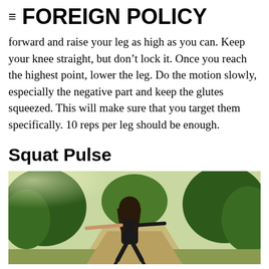≡ FOREIGN POLICY
forward and raise your leg as high as you can. Keep your knee straight, but don't lock it. Once you reach the highest point, lower the leg. Do the motion slowly, especially the negative part and keep the glutes squeezed. This will make sure that you target them specifically. 10 reps per leg should be enough.
Squat Pulse
[Figure (photo): Woman in black tank top doing a squat pulse exercise outdoors with arms extended forward, surrounded by green trees on a path.]